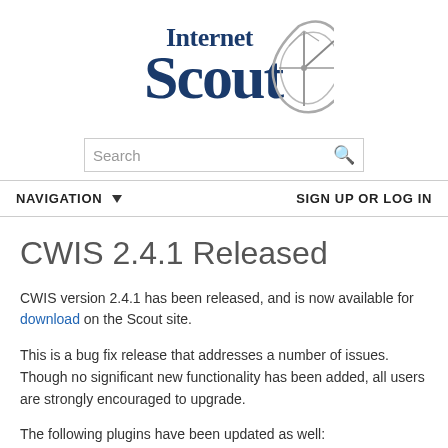[Figure (logo): Internet Scout logo with sextant instrument graphic, dark blue serif text]
[Figure (other): Search box with placeholder text 'Search' and magnifying glass icon]
NAVIGATION ▼    SIGN UP OR LOG IN
CWIS 2.4.1 Released
CWIS version 2.4.1 has been released, and is now available for download on the Scout site.
This is a bug fix release that addresses a number of issues. Though no significant new functionality has been added, all users are strongly encouraged to upgrade.
The following plugins have been updated as well: